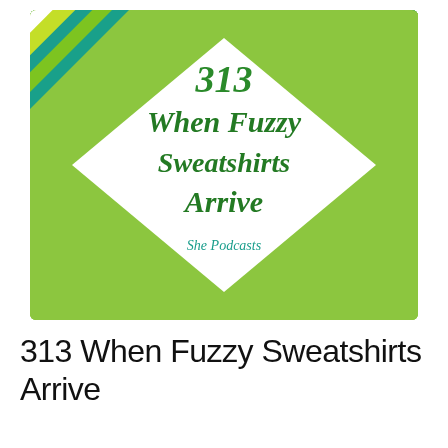[Figure (illustration): Podcast cover art for 'She Podcasts' episode 313 titled 'When Fuzzy Sweatshirts Arrive'. Green geometric diamond/argyle pattern background in shades of lime green, teal, and yellow-green with white diamond shapes. Central white diamond contains dark green retro-style script text reading '313 When Fuzzy Sweatshirts Arrive' with 'She Podcasts' in smaller teal script below.]
313 When Fuzzy Sweatshirts Arrive